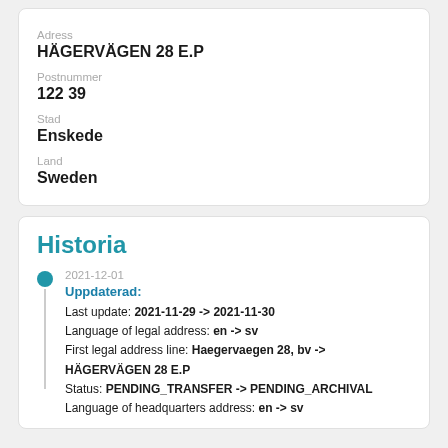Adress
HÄGERVÄGEN 28 E.P
Postnummer
122 39
Stad
Enskede
Land
Sweden
Historia
2021-12-01
Uppdaterad:
Last update: 2021-11-29 -> 2021-11-30
Language of legal address: en -> sv
First legal address line: Haegervaegen 28, bv -> HÄGERVÄGEN 28 E.P
Status: PENDING_TRANSFER -> PENDING_ARCHIVAL
Language of headquarters address: en -> sv